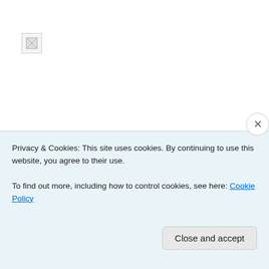[Figure (photo): Broken/missing image placeholder in top-left area]
Follow Punk Rock OR via email
Enter your email address to follow this blog and receive notifications of new posts by email.
Email Address
Follow
Privacy & Cookies: This site uses cookies. By continuing to use this website, you agree to their use.
To find out more, including how to control cookies, see here: Cookie Policy
Close and accept